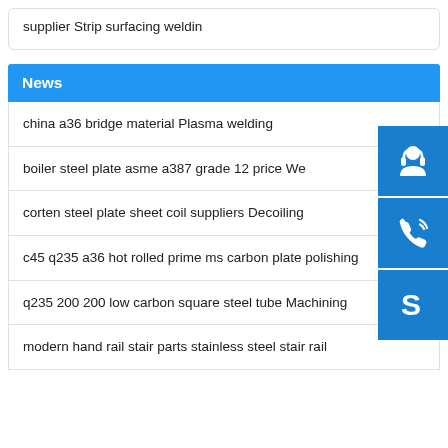supplier Strip surfacing weldin
News
china a36 bridge material Plasma welding
boiler steel plate asme a387 grade 12 price We
corten steel plate sheet coil suppliers Decoiling
c45 q235 a36 hot rolled prime ms carbon plate polishing
q235 200 200 low carbon square steel tube Machining
modern hand rail stair parts stainless steel stair rail